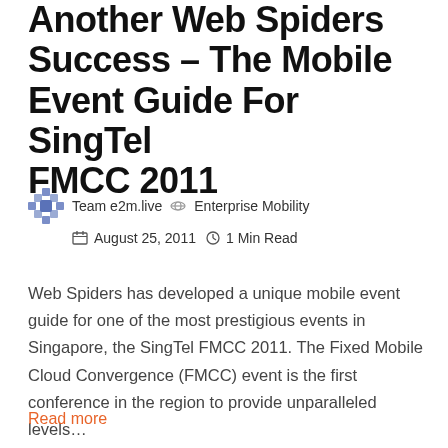Another Web Spiders Success – The Mobile Event Guide For SingTel FMCC 2011
Team e2m.live · Enterprise Mobility · August 25, 2011 · 1 Min Read
Web Spiders has developed a unique mobile event guide for one of the most prestigious events in Singapore, the SingTel FMCC 2011. The Fixed Mobile Cloud Convergence (FMCC) event is the first conference in the region to provide unparalleled levels…
Read more